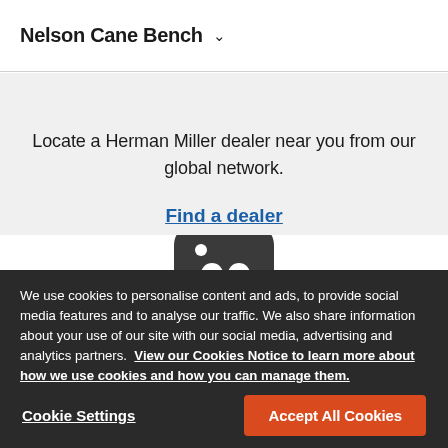Nelson Cane Bench
Locate a Herman Miller dealer near you from our global network.
Find a dealer
[Figure (logo): Herman Miller logo icon — dark speech-bubble shape with two circular cutouts]
We use cookies to personalise content and ads, to provide social media features and to analyse our traffic. We also share information about your use of our site with our social media, advertising and analytics partners. View our Cookies Notice to learn more about how we use cookies and how you can manage them.
Cookie Settings
Accept All Cookies